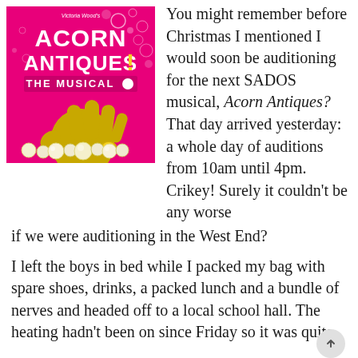[Figure (photo): Acorn Antiques! The Musical poster — pink background with gold/yellow hand and pearl bracelet, text 'Victoria Wood's ACORN ANTIQUES! THE MUSICAL' in white and yellow letters]
You might remember before Christmas I mentioned I would soon be auditioning for the next SADOS musical, Acorn Antiques? That day arrived yesterday: a whole day of auditions from 10am until 4pm. Crikey! Surely it couldn't be any worse if we were auditioning in the West End?
I left the boys in bed while I packed my bag with spare shoes, drinks, a packed lunch and a bundle of nerves and headed off to a local school hall. The heating hadn't been on since Friday so it was quite